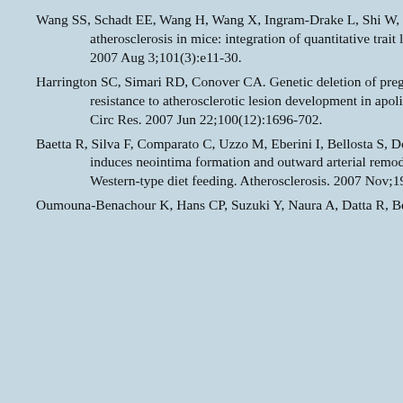Wang SS, Schadt EE, Wang H, Wang X, Ingram-Drake L, Shi W, Drake TA, Lusis AJ. Identification of pathways for atherosclerosis in mice: integration of quantitative trait locus analysis and global gene expression data. Circ Res. 2007 Aug 3;101(3):e11-30.
Harrington SC, Simari RD, Conover CA. Genetic deletion of pregnancy-associated plasma protein-A is associated with resistance to atherosclerotic lesion development in apolipoprotein E-deficient mice challenged with a high-fat diet. Circ Res. 2007 Jun 22;100(12):1696-702.
Baetta R, Silva F, Comparato C, Uzzo M, Eberini I, Bellosta S, Donetti E, Corsini A. Perivascular carotid collar placement induces neointima formation and outward arterial remodeling in mice independent of apolipoprotein E deficiency or Western-type diet feeding. Atherosclerosis. 2007 Nov;195(1):e112-24.
Oumouna-Benachour K, Hans CP, Suzuki Y, Naura A, Datta R, Belmadani S, Fallon K, ...
[Figure (screenshot): A popup dialog box with a cyan title bar showing Japanese/Chinese characters, a red X close button, body text in blue with Japanese/Chinese characters, and a paperclip illustration on the right side.]